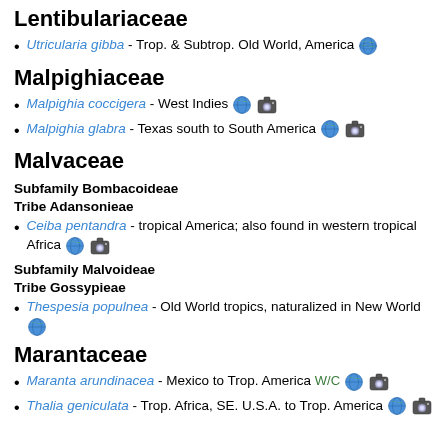Lentibulariaceae
Utricularia gibba - Trop. & Subtrop. Old World, America 🌍
Malpighiaceae
Malpighia coccigera - West Indies 🌍 📷
Malpighia glabra - Texas south to South America 🌍 📷
Malvaceae
Subfamily Bombacoideae
Tribe Adansonieae
Ceiba pentandra - tropical America; also found in western tropical Africa 🌍 📷
Subfamily Malvoideae
Tribe Gossypieae
Thespesia populnea - Old World tropics, naturalized in New World 🌍
Marantaceae
Maranta arundinacea - Mexico to Trop. America W/C 🌍 📷
Thalia geniculata - Trop. Africa, SE. U.S.A. to Trop. America 🌍 📷